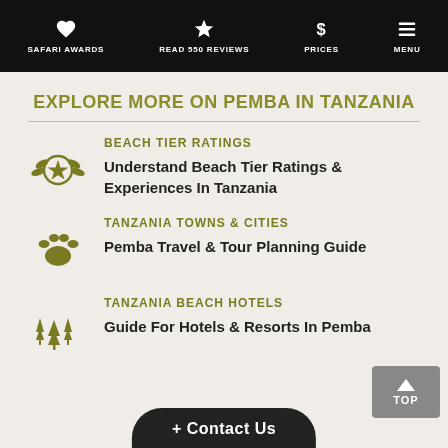SAFARI AWARDS | READ 550 REVIEWS | PRICES | MENU
EXPLORE MORE ON PEMBA IN TANZANIA
BEACH TIER RATINGS
Understand Beach Tier Ratings & Experiences In Tanzania
TANZANIA TOWNS & CITIES
Pemba Travel & Tour Planning Guide
TANZANIA BEACH HOTELS
Guide For Hotels & Resorts In Pemba